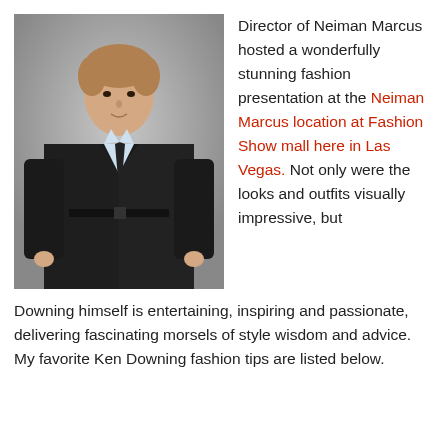[Figure (photo): Man in dark suit with light blue shirt and dark tie standing in front of a grey background]
Director of Neiman Marcus hosted a wonderfully stunning fashion presentation at the Neiman Marcus location at Fashion Show mall here in Las Vegas. Not only were the looks and outfits visually impressive, but Downing himself is entertaining, inspiring and passionate, delivering fascinating morsels of style wisdom and advice. My favorite Ken Downing fashion tips are listed below.